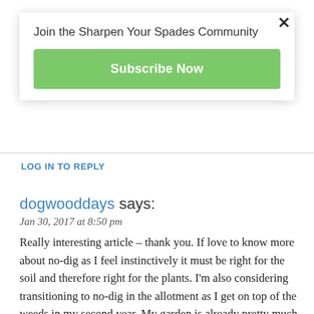Join the Sharpen Your Spades Community
Subscribe Now
LOG IN TO REPLY
dogwooddays says:
Jan 30, 2017 at 8:50 pm
Really interesting article – thank you. If love to know more about no-dig as I feel instinctively it must be right for the soil and therefore right for the plants. I'm also considering transitioning to no-dig in the allotment as I get on top of the weeds in my second year. My garden is already pretty much no-dig as it's all raised beds. I'll be following the links you provide and learning more about it over the next few weeks. Be interesting to see how you get on – best of luck 😊